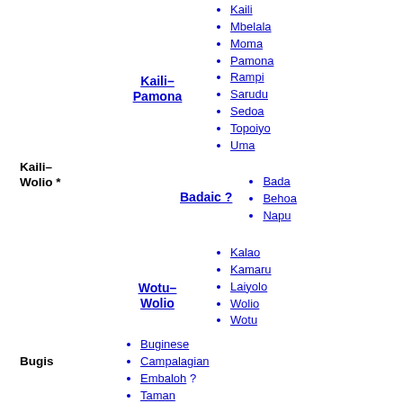Kaili–Pamona
Kaili
Mbelala
Moma
Pamona
Rampi
Sarudu
Sedoa
Topoiyo
Uma
Kaili–Wolio *
Badaic ?
Bada
Behoa
Napu
Wotu–Wolio
Kalao
Kamaru
Laiyolo
Wolio
Wotu
Bugis
Buginese
Campalagian
Embaloh ?
Taman